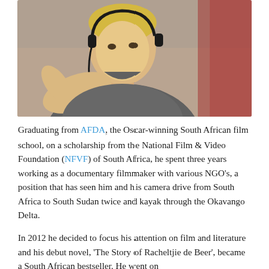[Figure (photo): A blond man wearing headphones and a grey t-shirt, gesturing with his right hand toward the camera. Background is blurred with muted earth tones and a red element on the right.]
Graduating from AFDA, the Oscar-winning South African film school, on a scholarship from the National Film & Video Foundation (NFVF) of South Africa, he spent three years working as a documentary filmmaker with various NGO's, a position that has seen him and his camera drive from South Africa to South Sudan twice and kayak through the Okavango Delta.
In 2012 he decided to focus his attention on film and literature and his debut novel, 'The Story of Racheltjie de Beer', became a South African bestseller. He went on